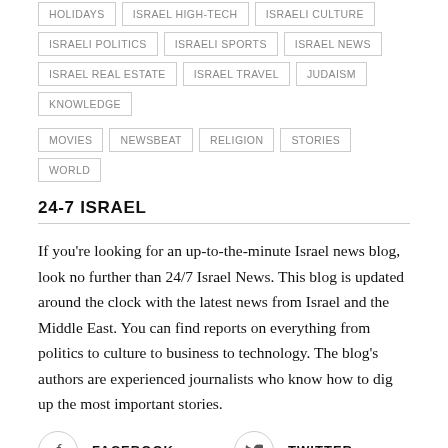HOLIDAYS | ISRAEL HIGH-TECH | ISRAELI CULTURE
ISRAELI POLITICS | ISRAELI SPORTS | ISRAEL NEWS
ISRAEL REAL ESTATE | ISRAEL TRAVEL | JUDAISM | KNOWLEDGE
MOVIES | NEWSBEAT | RELIGION | STORIES | WORLD
24-7 ISRAEL
If you're looking for an up-to-the-minute Israel news blog, look no further than 24/7 Israel News. This blog is updated around the clock with the latest news from Israel and the Middle East. You can find reports on everything from politics to culture to business to technology. The blog's authors are experienced journalists who know how to dig up the most important stories.
FACEBOOK  TWITTER